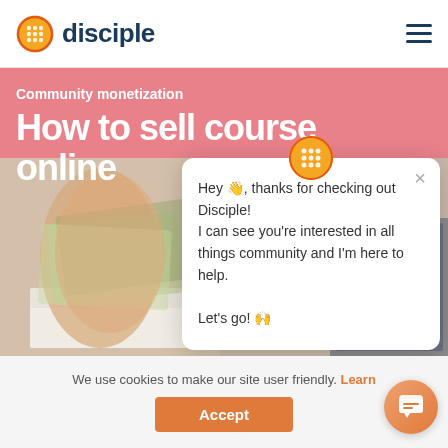[Figure (logo): Disciple logo with orange waffle/grid circle icon and dark blue text 'disciple']
[Figure (screenshot): Website screenshot showing 'Community monetization' header, 'How to sell courses online' title on pink/rose background, and a photo of a hand holding dollar bills with a laptop keyboard in background]
[Figure (infographic): Chat popup with Disciple orange logo icon at top, X close button, message text: 'Hey 👋, thanks for checking out Disciple! I can see you're interested in all things community and I'm here to help. Let's go! 🙌']
We use cookies to make our site user friendly. Learn
Accept